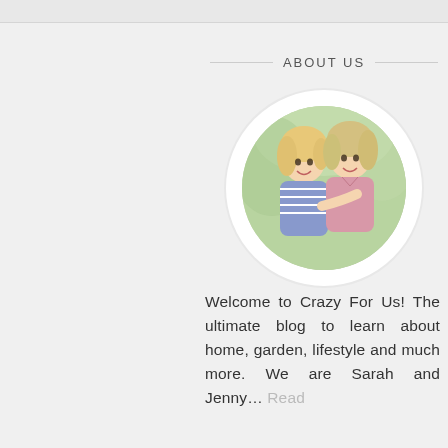ABOUT US
[Figure (photo): Circular photo of two smiling blonde women, one wearing a blue striped top and one wearing a pink top, outdoors with blurred green background]
Welcome to Crazy For Us! The ultimate blog to learn about home, garden, lifestyle and much more. We are Sarah and Jenny… Read